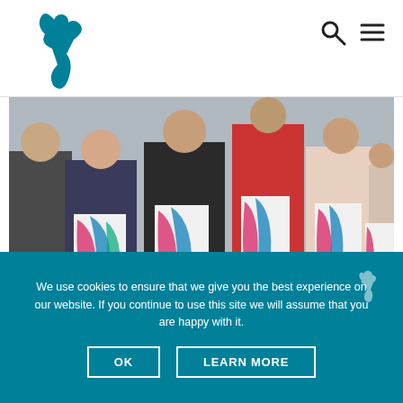Navigation bar with logo and search/menu icons
[Figure (photo): Group of people standing and holding documents/reports, event photo]
A NEW PUBLIC LIBRARY STRATEGY: INSPIRING, CONNECTING, AND EMPOWERING COMMUNITIES
Irish libraries evolve into accessible community hubs that meet the needs of their communities.
We use cookies to ensure that we give you the best experience on our website. If you continue to use this site we will assume that you are happy with it.